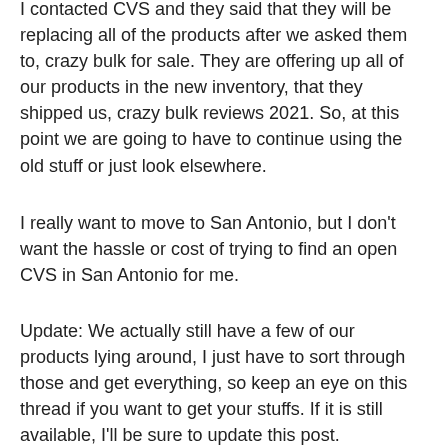I contacted CVS and they said that they will be replacing all of the products after we asked them to, crazy bulk for sale. They are offering up all of our products in the new inventory, that they shipped us, crazy bulk reviews 2021. So, at this point we are going to have to continue using the old stuff or just look elsewhere.
I really want to move to San Antonio, but I don't want the hassle or cost of trying to find an open CVS in San Antonio for me.
Update: We actually still have a few of our products lying around, I just have to sort through those and get everything, so keep an eye on this thread if you want to get your stuffs. If it is still available, I'll be sure to update this post.
This thread is NOT an endorsement of